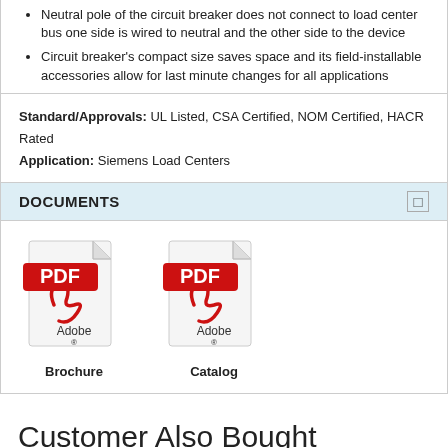Neutral pole of the circuit breaker does not connect to load center bus one side is wired to neutral and the other side to the device
Circuit breaker's compact size saves space and its field-installable accessories allow for last minute changes for all applications
Standard/Approvals: UL Listed, CSA Certified, NOM Certified, HACR Rated
Application: Siemens Load Centers
DOCUMENTS
[Figure (illustration): PDF Adobe Acrobat icon for Brochure document]
Brochure
[Figure (illustration): PDF Adobe Acrobat icon for Catalog document]
Catalog
Customer Also Bought
[Figure (photo): Product photo showing circuit breakers]